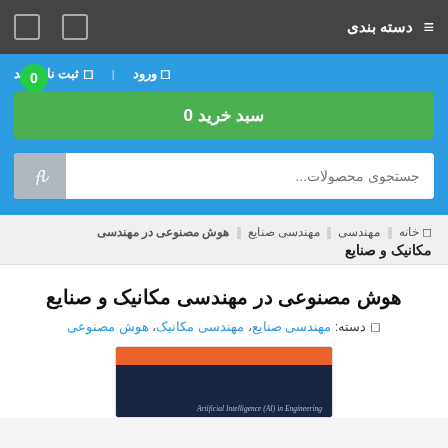دسته بندی
0 | ورود | ثبت نام کنید
سبد خرید 0
جستجوی محصولات...
خانه | مهندسی | مهندسی صنایع | هوش مصنوعی در مهندسی مکانیک و صنایع
هوش مصنوعی در مهندسی مکانیک و صنایع
دسته: مهندسی صنایع، مهندسی مکانیک، هوش مصنوعی
[Figure (screenshot): Book cover showing 'Artificial Intelligence (AI) in Engineering' with orange and dark navy sections]